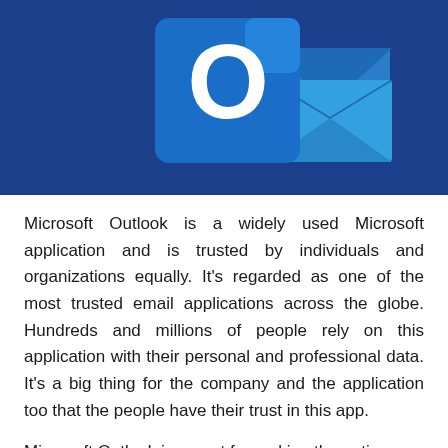[Figure (logo): Microsoft Outlook logo on a dark navy blue background. The logo features the Outlook 'O' icon (blue square with white O letter) overlapping with a stylized blue envelope icon. Various shades of blue are used.]
Microsoft Outlook is a widely used Microsoft application and is trusted by individuals and organizations equally. It's regarded as one of the most trusted email applications across the globe. Hundreds and millions of people rely on this application with their personal and professional data. It's a big thing for the company and the application too that the people have their trust in this app.
Microsoft Outlook is meant for making the entire